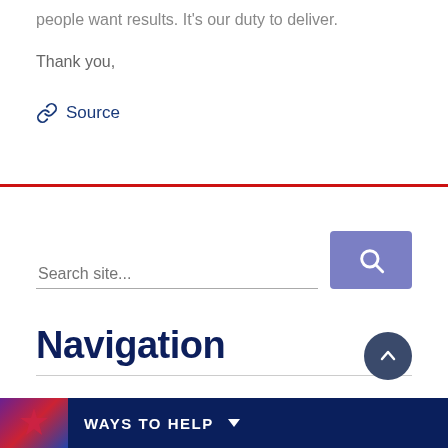people want results. It's our duty to deliver.
Thank you,
Source
Search site...
Navigation
WAYS TO HELP